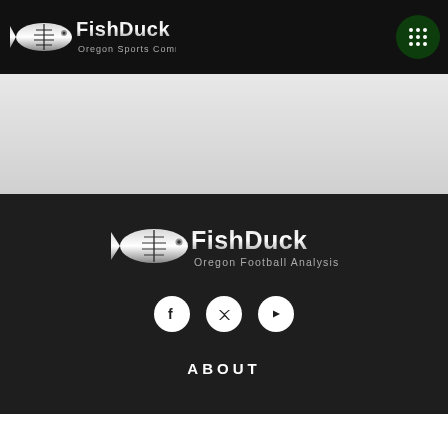[Figure (logo): FishDuck Oregon Sports Community logo in white/silver on black header bar]
[Figure (logo): Grid/menu icon button (3x3 dots) on dark green circle background in header]
[Figure (other): Light grey advertisement/content placeholder area]
[Figure (logo): FishDuck Oregon Football Analysis logo in silver/white on dark background]
[Figure (other): Social media icons: Facebook, Twitter, YouTube in white circles on dark background]
ABOUT